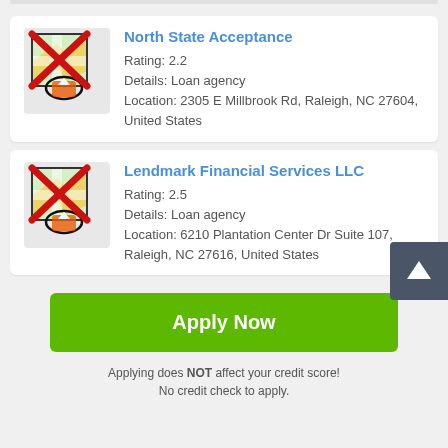[Figure (other): Listing card for North State Acceptance with map icon crossed out, rating 2.2, loan agency details and location.]
[Figure (other): Listing card for Lendmark Financial Services LLC with map icon crossed out, rating 2.5, loan agency details and location.]
Apply Now
Applying does NOT affect your credit score! No credit check to apply.